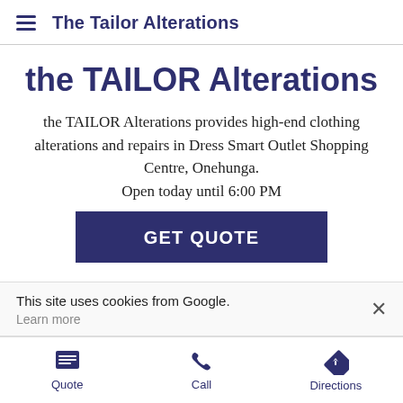The Tailor Alterations
the TAILOR Alterations
the TAILOR Alterations provides high-end clothing alterations and repairs in Dress Smart Outlet Shopping Centre, Onehunga.
Open today until 6:00 PM
GET QUOTE
This site uses cookies from Google.
Learn more
Quote  Call  Directions